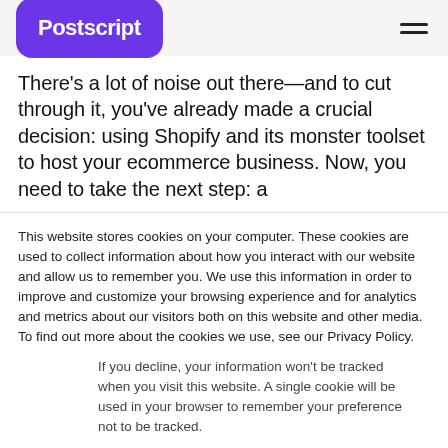Postscript [logo] [hamburger menu]
There’s a lot of noise out there—and to cut through it, you’ve already made a crucial decision: using Shopify and its monster toolset to host your ecommerce business. Now, you need to take the next step: a
This website stores cookies on your computer. These cookies are used to collect information about how you interact with our website and allow us to remember you. We use this information in order to improve and customize your browsing experience and for analytics and metrics about our visitors both on this website and other media. To find out more about the cookies we use, see our Privacy Policy.
If you decline, your information won’t be tracked when you visit this website. A single cookie will be used in your browser to remember your preference not to be tracked.
Accept   Decline